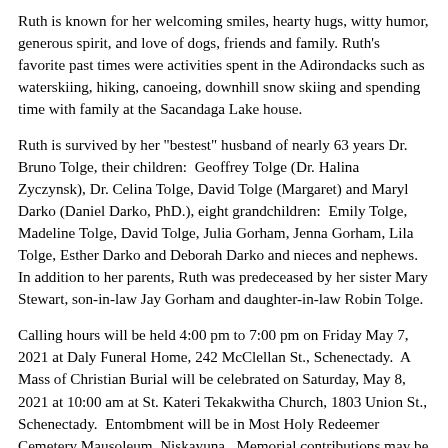Ruth is known for her welcoming smiles, hearty hugs, witty humor, generous spirit, and love of dogs, friends and family. Ruth's favorite past times were activities spent in the Adirondacks such as waterskiing, hiking, canoeing, downhill snow skiing and spending time with family at the Sacandaga Lake house.
Ruth is survived by her "bestest" husband of nearly 63 years Dr. Bruno Tolge, their children:  Geoffrey Tolge (Dr. Halina Zyczynsk), Dr. Celina Tolge, David Tolge (Margaret) and Maryl Darko (Daniel Darko, PhD.), eight grandchildren:  Emily Tolge, Madeline Tolge, David Tolge, Julia Gorham, Jenna Gorham, Lila Tolge, Esther Darko and Deborah Darko and nieces and nephews. In addition to her parents, Ruth was predeceased by her sister Mary Stewart, son-in-law Jay Gorham and daughter-in-law Robin Tolge.
Calling hours will be held 4:00 pm to 7:00 pm on Friday May 7, 2021 at Daly Funeral Home, 242 McClellan St., Schenectady.  A Mass of Christian Burial will be celebrated on Saturday, May 8, 2021 at 10:00 am at St. Kateri Tekakwitha Church, 1803 Union St., Schenectady.  Entombment will be in Most Holy Redeemer Cemetery Mausoleum, Niskayuna.  Memorial contributions may be made in Ruth's name to St. Kateri Tekakwitha Church or the Schenectady City Mission.